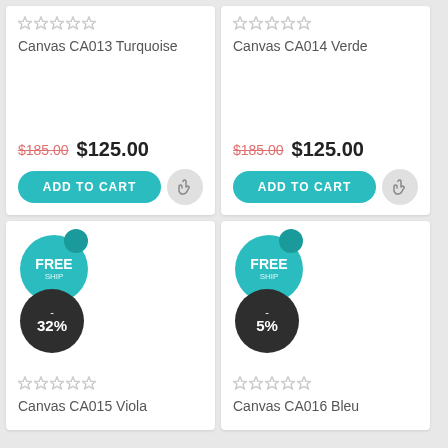Canvas CA013 Turquoise
$185.00  $125.00
ADD TO CART
Canvas CA014 Verde
$185.00  $125.00
ADD TO CART
[Figure (infographic): FREE shipping badge (teal circle) and -32% discount badge (dark circle) on Canvas CA015 Viola product card]
Canvas CA015 Viola
[Figure (infographic): FREE shipping badge (teal circle) and -5% discount badge (dark circle) on Canvas CA016 Bleu product card]
Canvas CA016 Bleu